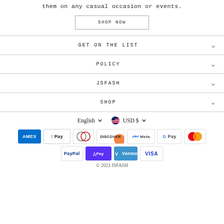them on any casual occasion or events.
SHOP NOW
GET ON THE LIST
POLICY
JSFASH
SHOP
English  USD $
[Figure (other): Payment method icons: American Express, Apple Pay, Diners Club, Discover, Meta Pay, Google Pay, Mastercard, PayPal, Shop Pay, Venmo, Visa]
© 2023 JSFASH